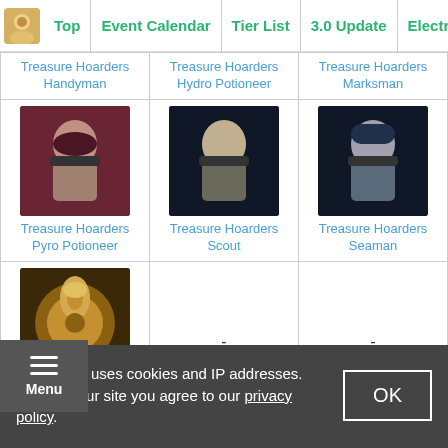Top | Event Calendar | Tier List | 3.0 Update | Electroc
| Treasure Hoarders Handyman | Treasure Hoarders Hydro Potioneer | Treasure Hoarders Marksman |
| Treasure Hoarders Pyro Potioneer | Treasure Hoarders Scout | Treasure Hoarders Seaman |
| Wooden Shield Hilichurl Guard | - | - |
Sponsored Link
Menu
GameWith uses cookies and IP addresses. By using our site you agree to our privacy policy.